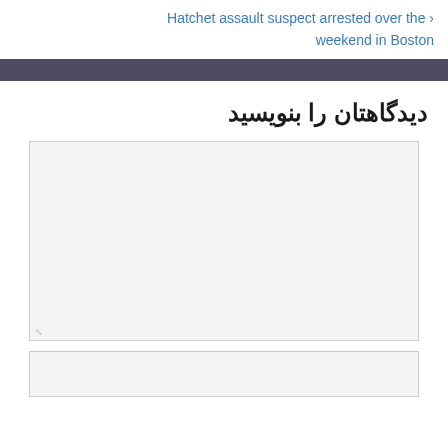Hatchet assault suspect arrested over the weekend in Boston ›
دیدگاهتان را بنویسید
[Figure (screenshot): Empty comment textarea input box with light gray background and resize handle in bottom-left corner]
[Figure (screenshot): Partial empty text input field at the bottom of the page]